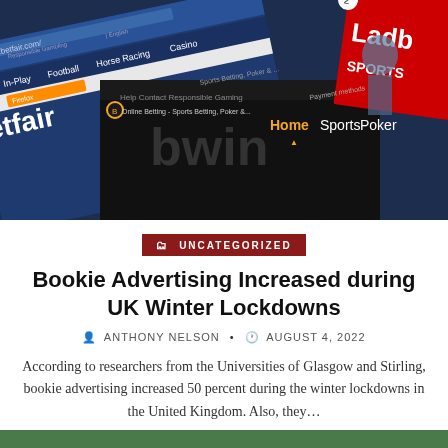[Figure (photo): Collage of sports betting website screenshots including Betfair, bwin, and Ladbrokes websites shown overlapping on screens]
UNCATEGORIZED
Bookie Advertising Increased during UK Winter Lockdowns
ANTHONY NELSON • AUGUST 4, 2022
According to researchers from the Universities of Glasgow and Stirling, bookie advertising increased 50 percent during the winter lockdowns in the United Kingdom. Also, they...
CONTINUE READING